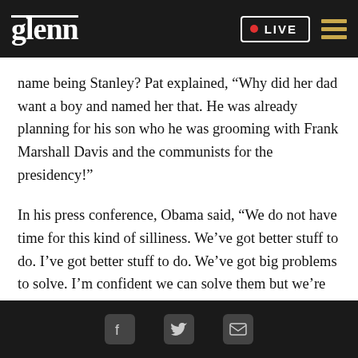glenn • LIVE
name being Stanley? Pat explained, “Why did her dad want a boy and named her that. He was already planning for his son who he was grooming with Frank Marshall Davis and the communists for the presidency!”
In his press conference, Obama said, “We do not have time for this kind of silliness. We’ve got better stuff to do. I’ve got better stuff to do. We’ve got big problems to solve. I’m confident we can solve them but we’re going to focus on them. Not this.”
Social icons: Facebook, Twitter, Email